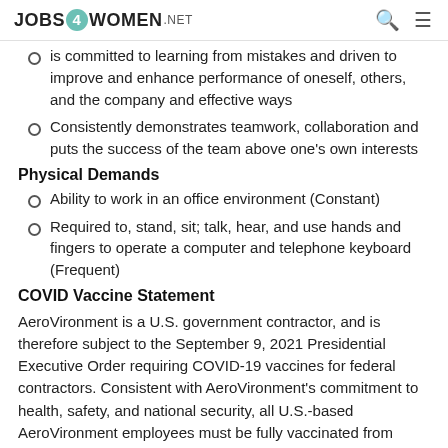JOBS4WOMEN.NET
is committed to learning from mistakes and driven to improve and enhance performance of oneself, others, and the company and effective ways
Consistently demonstrates teamwork, collaboration and puts the success of the team above one's own interests
Physical Demands
Ability to work in an office environment (Constant)
Required to, stand, sit; talk, hear, and use hands and fingers to operate a computer and telephone keyboard (Frequent)
COVID Vaccine Statement
AeroVironment is a U.S. government contractor, and is therefore subject to the September 9, 2021 Presidential Executive Order requiring COVID-19 vaccines for federal contractors. Consistent with AeroVironment's commitment to health, safety, and national security, all U.S.-based AeroVironment employees must be fully vaccinated from COVID-19; this means that all new hires located in the United States must provide proof of being fully vaccinated from COVID-19 before their start date. At this time, the vaccination requirement applies only to U.S.-based employees;